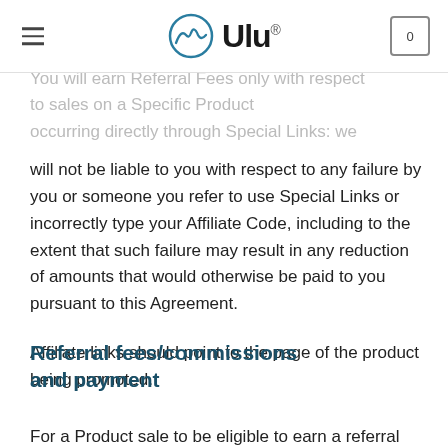Ulu
You will earn Referral Fees only with respect to sales on a Specific Product occurring directly through Special Links: we will not be liable to you with respect to any failure by you or someone you refer to use Special Links or incorrectly type your Affiliate Code, including to the extent that such failure may result in any reduction of amounts that would otherwise be paid to you pursuant to this Agreement.
Affiliate links should point to the page of the product being promoted.
Referral fees/commissions and payment
For a Product sale to be eligible to earn a referral fee, the customer must click-